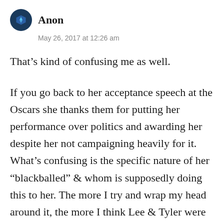Anon
May 26, 2017 at 12:26 am
That’s kind of confusing me as well.
If you go back to her acceptance speech at the Oscars she thanks them for putting her performance over politics and awarding her despite her not campaigning heavily for it. What’s confusing is the specific nature of her “blackballed” & whom is supposedly doing this to her. The more I try and wrap my head around it, the more I think Lee & Tyler were frustrated with how the deal to get the movie out went down & both chose to throw her under the bus behind the scenes because it doesn’t make sense that